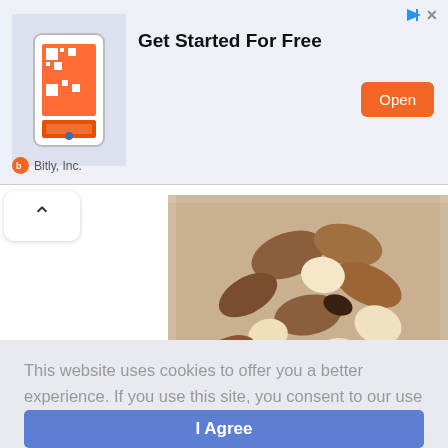[Figure (screenshot): Ad banner for Bitly Inc. showing a QR code app image on the left, 'Get Started For Free' headline in the middle, and an orange 'Open' button on the right. Top right shows a blue play triangle and X close icon. Attribution: Bitly, Inc.]
[Figure (photo): Upward chevron / back navigation button in a white rounded box]
[Figure (photo): Close-up photo of mixed nuts in a clear container, including almonds, brazil nuts, macadamia nuts, and other mixed nuts]
This website uses cookies to offer you a better experience. If you use this site, you consent to our use of cookies. Learn more
[Figure (screenshot): Blue 'I Agree' button for cookie consent]
[Figure (photo): Partial view of a food item at the bottom of the page]